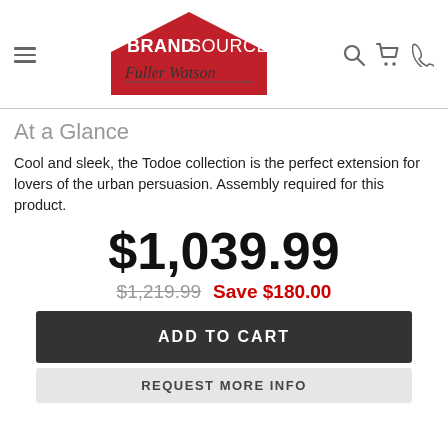[Figure (logo): BrandSource Fuller Watson Home Furnishings logo with house/roof shape in red, BRANDSOURCE in white bold text, Fuller Watson in cursive script, HOME FURNISHINGS in red below]
At a Glance
Cool and sleek, the Todoe collection is the perfect extension for lovers of the urban persuasion. Assembly required for this product.
$1,039.99
$1,219.99  Save $180.00
ADD TO CART
REQUEST MORE INFO